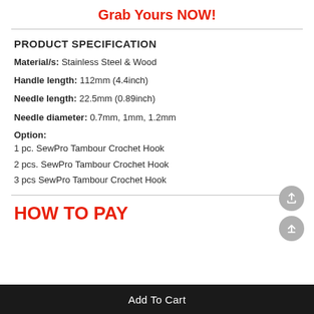Grab Yours NOW!
PRODUCT SPECIFICATION
Material/s: Stainless Steel & Wood
Handle length: 112mm (4.4inch)
Needle length: 22.5mm (0.89inch)
Needle diameter: 0.7mm, 1mm, 1.2mm
Option:
1 pc. SewPro Tambour Crochet Hook
2 pcs. SewPro Tambour Crochet Hook
3 pcs SewPro Tambour Crochet Hook
HOW TO PAY
Add To Cart